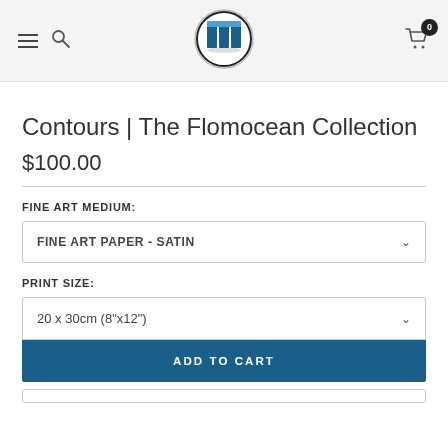Navigation header with hamburger menu, search icon, Flomocean logo, and cart icon with badge 0
Contours | The Flomocean Collection
$100.00
FINE ART MEDIUM:
FINE ART PAPER - SATIN
PRINT SIZE:
20 x 30cm (8"x12")
ADD TO CART